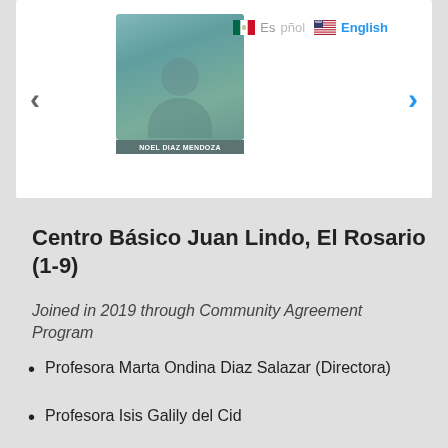[Figure (photo): Profile photo of Noel Diaz Mendoza with name bar, navigation arrows, and language selection (Mexican flag Español, US flag English)]
Centro Básico Juan Lindo, El Rosario (1-9)
Joined in 2019 through Community Agreement Program
Profesora Marta Ondina Diaz Salazar (Directora)
Profesora Isis Galily del Cid